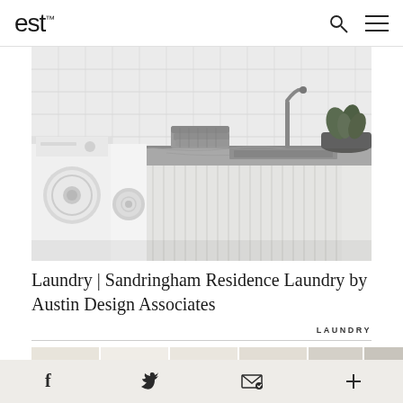est™
[Figure (photo): Interior laundry room with white front-loading washing machines on left, white vertical shiplap paneling in center, grey marble benchtop with undermount sink and modern tap, folded grey knit blanket on bench, small potted plant on right, white subway tiles on wall behind.]
Laundry | Sandringham Residence Laundry by Austin Design Associates
LAUNDRY
[Figure (photo): Strip of thumbnail images showing interior spaces, partial view.]
f  ✦  ✉  +